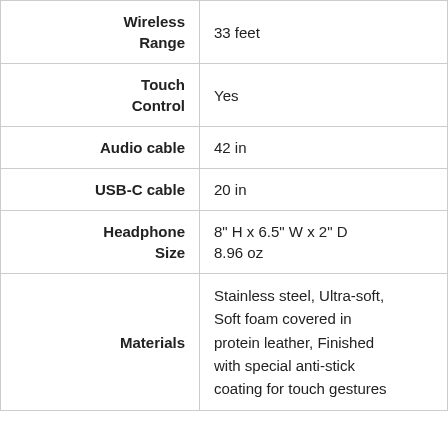| Spec | Value |
| --- | --- |
| Wireless Range | 33 feet |
| Touch Control | Yes |
| Audio cable | 42 in |
| USB-C cable | 20 in |
| Headphone Size | 8" H x 6.5" W x 2" D
8.96 oz |
| Materials | Stainless steel, Ultra-soft, Soft foam covered in protein leather, Finished with special anti-stick coating for touch gestures |